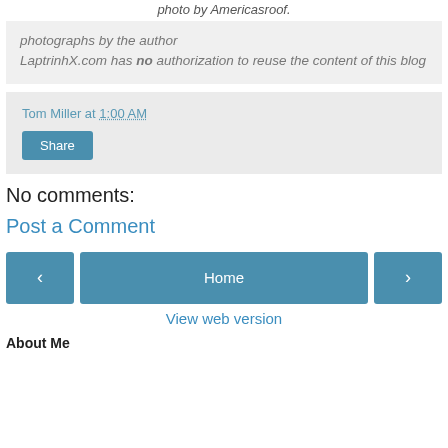photo by Americasroof.
photographs by the author
LaptrinhX.com has no authorization to reuse the content of this blog
Tom Miller at 1:00 AM
Share
No comments:
Post a Comment
Home
View web version
About Me